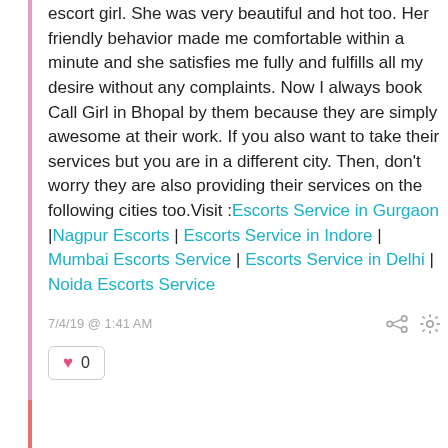escort girl. She was very beautiful and hot too. Her friendly behavior made me comfortable within a minute and she satisfies me fully and fulfills all my desire without any complaints. Now I always book Call Girl in Bhopal by them because they are simply awesome at their work. If you also want to take their services but you are in a different city. Then, don't worry they are also providing their services on the following cities too.Visit :Escorts Service in Gurgaon | Nagpur Escorts | Escorts Service in Indore | Mumbai Escorts Service | Escorts Service in Delhi | Noida Escorts Service
7/4/19 @ 1:41 AM
0